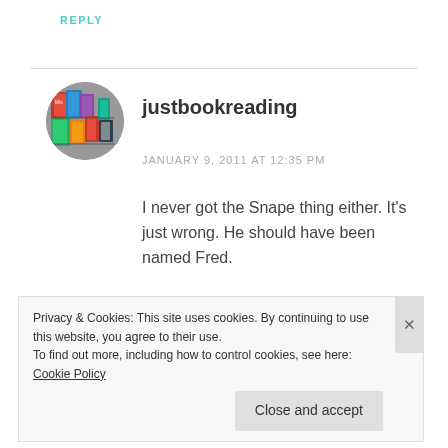REPLY
[Figure (photo): Circular avatar image of justbookreading, showing colorful book covers]
justbookreading
JANUARY 9, 2011 AT 12:35 PM
I never got the Snape thing either. It’s just wrong. He should have been named Fred.
REPLY
Privacy & Cookies: This site uses cookies. By continuing to use this website, you agree to their use.
To find out more, including how to control cookies, see here: Cookie Policy
Close and accept